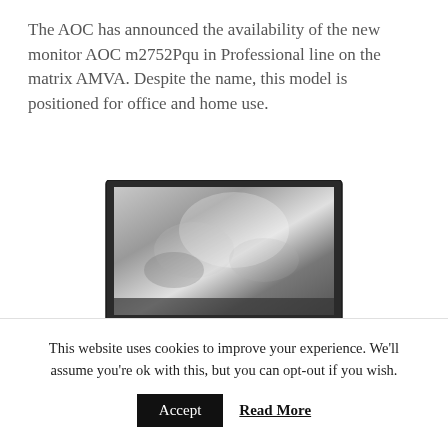The AOC has announced the availability of the new monitor AOC m2752Pqu in Professional line on the matrix AMVA. Despite the name, this model is positioned for office and home use.
[Figure (photo): Photo of the AOC m2752Pqu monitor displaying a water splash image on screen, shown in a front-angle view with stand and base.]
The AOC m2752Pqu AMVA monitor is a version of...
This website uses cookies to improve your experience. We'll assume you're ok with this, but you can opt-out if you wish.